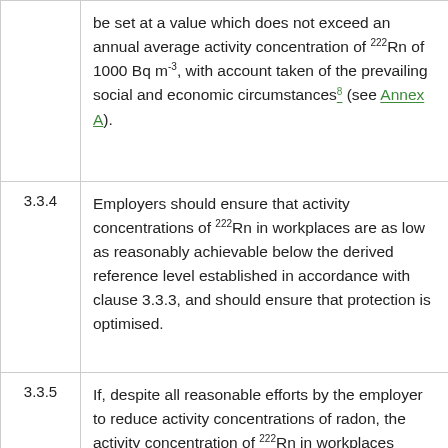be set at a value which does not exceed an annual average activity concentration of 222Rn of 1000 Bq m-3, with account taken of the prevailing social and economic circumstances8 (see Annex A).
3.3.4
Employers should ensure that activity concentrations of 222Rn in workplaces are as low as reasonably achievable below the derived reference level established in accordance with clause 3.3.3, and should ensure that protection is optimised.
3.3.5
If, despite all reasonable efforts by the employer to reduce activity concentrations of radon, the activity concentration of 222Rn in workplaces remains above the derived